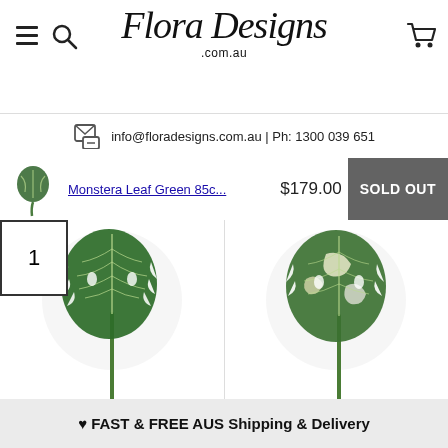[Figure (logo): Flora Designs .com.au cursive/script logo]
info@floradesigns.com.au | Ph: 1300 039 651
Monstera Leaf Green 85c... $179.00 SOLD OUT
1
[Figure (photo): Two monstera leaf product photos — left: solid green monstera leaf on stem; right: variegated white-green monstera leaf on stem]
♥ FAST & FREE AUS Shipping & Delivery